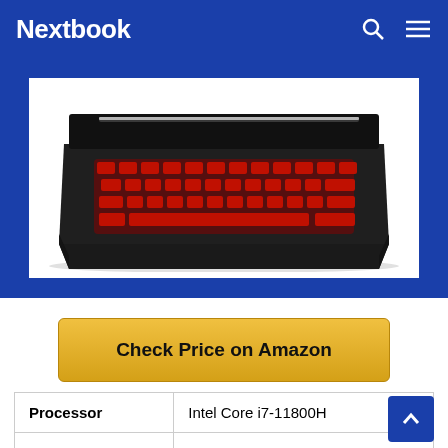Nextbook
[Figure (photo): Gaming laptop with red backlit keyboard, viewed from above at an angle, on a white background within a blue bordered area]
Check Price on Amazon
| Processor | RAM | Graphics |
| --- | --- | --- |
| Processor | Intel Core i7-11800H |
| RAM | 16GB DDR4 |
| Graphics | NVIDIA GeForce RTX 3050Ti |